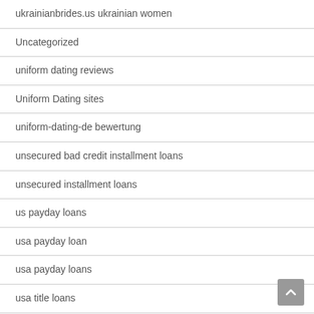ukrainianbrides.us ukrainian women
Uncategorized
uniform dating reviews
Uniform Dating sites
uniform-dating-de bewertung
unsecured bad credit installment loans
unsecured installment loans
us payday loans
usa payday loan
usa payday loans
usa title loans
Utah payday loans
Utah payday loans online